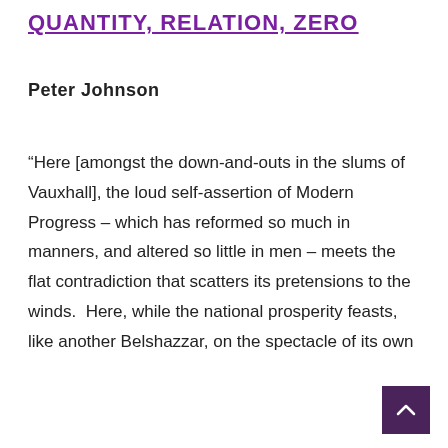QUANTITY, RELATION, ZERO
Peter Johnson
“Here [amongst the down-and-outs in the slums of Vauxhall], the loud self-assertion of Modern Progress – which has reformed so much in manners, and altered so little in men – meets the flat contradiction that scatters its pretensions to the winds.  Here, while the national prosperity feasts, like another Belshazzar, on the spectacle of its own